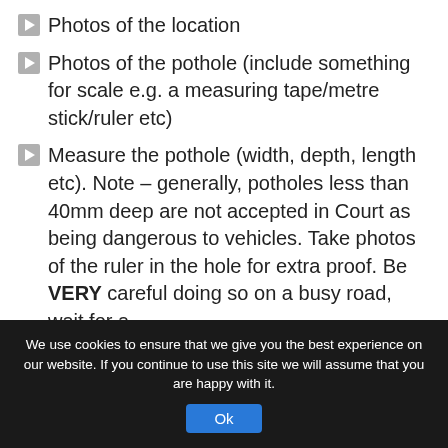Photos of the location
Photos of the pothole (include something for scale e.g. a measuring tape/metre stick/ruler etc)
Measure the pothole (width, depth, length etc). Note – generally, potholes less than 40mm deep are not accepted in Court as being dangerous to vehicles. Take photos of the ruler in the hole for extra proof. Be VERY careful doing so on a busy road, wait for a
We use cookies to ensure that we give you the best experience on our website. If you continue to use this site we will assume that you are happy with it.